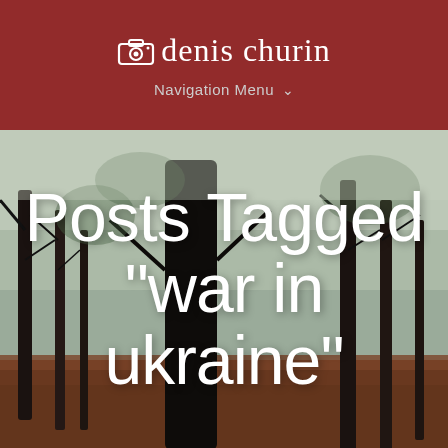denis churin
Navigation Menu ∨
[Figure (photo): Misty forest scene with tall dark tree trunks, foggy green background, and brown leaf-covered ground. Large white text overlaid reads: Posts Tagged "war in ukraine"]
Posts Tagged "war in ukraine"